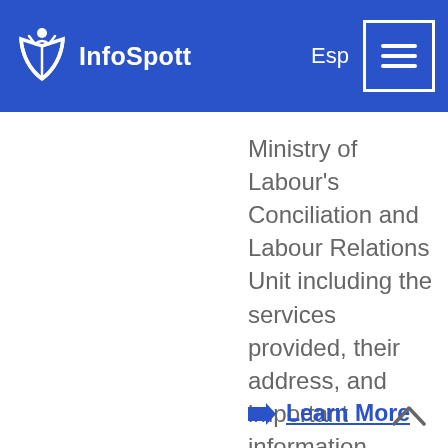[Figure (logo): InfoSpott logo with open book icon and white text on blue header bar, with 'Esp' language toggle and hamburger menu button]
Ministry of Labour's Conciliation and Labour Relations Unit including the services provided, their address, and important information.
➡ Learn More